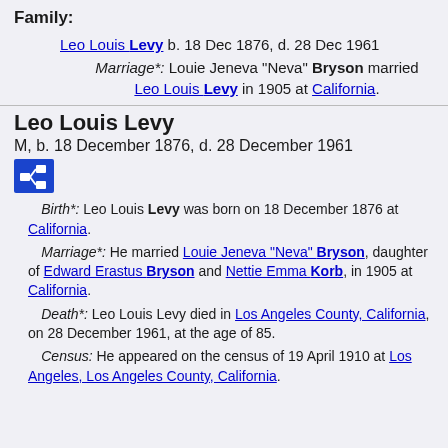Family:
Leo Louis Levy b. 18 Dec 1876, d. 28 Dec 1961
Marriage*: Louie Jeneva "Neva" Bryson married Leo Louis Levy in 1905 at California.
Leo Louis Levy
M, b. 18 December 1876, d. 28 December 1961
Birth*: Leo Louis Levy was born on 18 December 1876 at California.
Marriage*: He married Louie Jeneva "Neva" Bryson, daughter of Edward Erastus Bryson and Nettie Emma Korb, in 1905 at California.
Death*: Leo Louis Levy died in Los Angeles County, California, on 28 December 1961, at the age of 85.
Census: He appeared on the census of 19 April 1910 at Los Angeles, Los Angeles County, California.